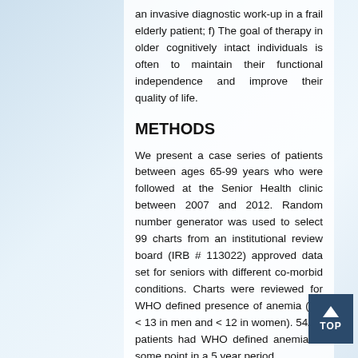an invasive diagnostic work-up in a frail elderly patient; f) The goal of therapy in older cognitively intact individuals is often to maintain their functional independence and improve their quality of life.
METHODS
We present a case series of patients between ages 65-99 years who were followed at the Senior Health clinic between 2007 and 2012. Random number generator was used to select 99 charts from an institutional review board (IRB # 113022) approved data set for seniors with different co-morbid conditions. Charts were reviewed for WHO defined presence of anemia (Hb < 13 in men and < 12 in women). 54/99 patients had WHO defined anemia at some point in a 5 year period.
In-patient and out-patient visits documenting the anemia in these 54 patients were